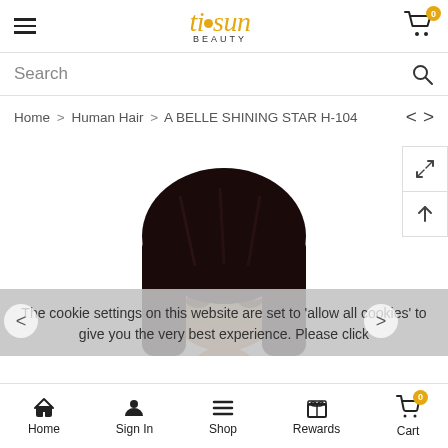[Figure (screenshot): Tisun Beauty website header with hamburger menu, logo, and cart icon with 0 badge]
Search
Home > Human Hair > A BELLE SHINING STAR H-104
[Figure (photo): Product photo of a dark brown human hair wig worn by a model, showing bob-style straight hair with bangs]
The cookie settings on this website are set to 'allow all cookies' to give you the very best experience. Please click
Home   Sign In   Shop   Rewards   Cart